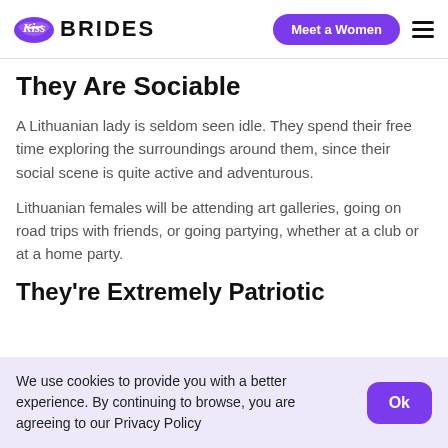Kiss Brides | Meet a Women
They Are Sociable
A Lithuanian lady is seldom seen idle. They spend their free time exploring the surroundings around them, since their social scene is quite active and adventurous.
Lithuanian females will be attending art galleries, going on road trips with friends, or going partying, whether at a club or at a home party.
They're Extremely Patriotic
We use cookies to provide you with a better experience. By continuing to browse, you are agreeing to our Privacy Policy